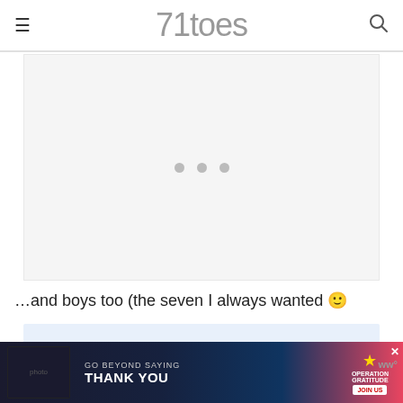71toes
[Figure (photo): Large image placeholder area with three loading dots centered, light gray background, representing a loading or empty image slideshow.]
…and boys too (the seven I always wanted 🙂
[Figure (screenshot): Advertisement banner: 'GO BEYOND SAYING THANK YOU' — Operation Gratitude ad with military personnel in background, blue/red design with 'JOIN US' button. Close button top right. Weather widget bottom right showing 'ww°'.]